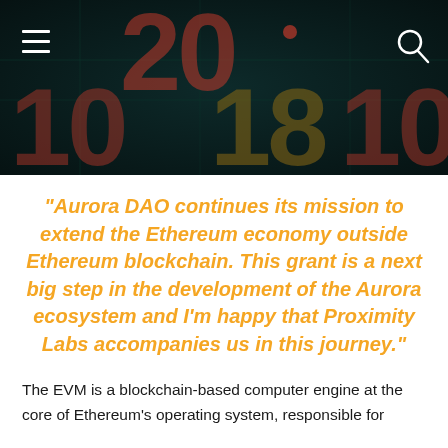[Figure (photo): Dark background header image showing large glowing binary/numeric digits (20, 10, 1, 8, 1, 0, 0) with green circuit-board patterns. Top-left has a hamburger menu icon (three white horizontal lines) and top-right has a magnifying glass search icon.]
“Aurora DAO continues its mission to extend the Ethereum economy outside Ethereum blockchain. This grant is a next big step in the development of the Aurora ecosystem and I’m happy that Proximity Labs accompanies us in this journey.”
The EVM is a blockchain-based computer engine at the core of Ethereum’s operating system, responsible for